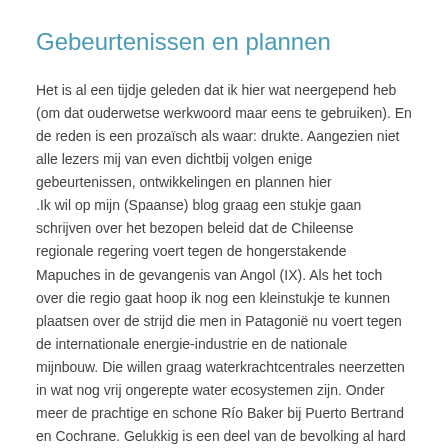Gebeurtenissen en plannen
Het is al een tijdje geleden dat ik hier wat neergepend heb (om dat ouderwetse werkwoord maar eens te gebruiken). En de reden is een prozaïsch als waar: drukte. Aangezien niet alle lezers mij van even dichtbij volgen enige gebeurtenissen, ontwikkelingen en plannen hier
.Ik wil op mijn (Spaanse) blog graag een stukje gaan schrijven over het bezopen beleid dat de Chileense regionale regering voert tegen de hongerstakende Mapuches in de gevangenis van Angol (IX). Als het toch over die regio gaat hoop ik nog een kleinstukje te kunnen plaatsen over de strijd die men in Patagonië nu voert tegen de internationale energie-industrie en de nationale mijnbouw. Die willen graag waterkrachtcentrales neerzetten in wat nog vrij ongerepte water ecosystemen zijn. Onder meer de prachtige en schone Río Baker bij Puerto Bertrand en Cochrane. Gelukkig is een deel van de bevolking al hard bezig campagne te voeren op